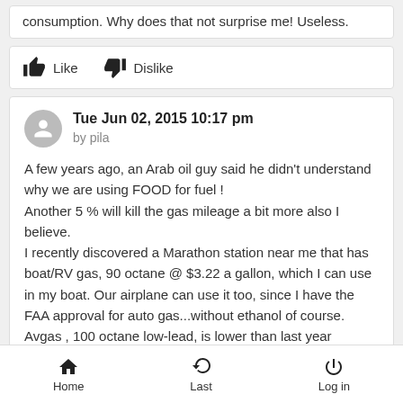consumption. Why does that not surprise me! Useless.
Like   Dislike
Tue Jun 02, 2015 10:17 pm
by pila
A few years ago, an Arab oil guy said he didn't understand why we are using FOOD for fuel ! Another 5 % will kill the gas mileage a bit more also I believe. I recently discovered a Marathon station near me that has boat/RV gas, 90 octane @ $3.22 a gallon, which I can use in my boat. Our airplane can use it too, since I have the FAA approval for auto gas...without ethanol of course. Avgas , 100 octane low-lead, is lower than last year though, @ 4.60 here. I use it in my Malibu, which is a storage queen at the airport most of the time, but the engine likes it 😊
Home   Last   Log in